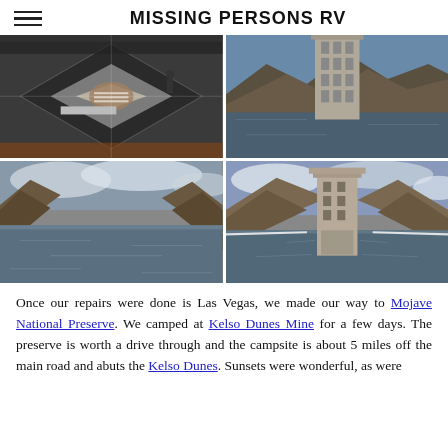MISSING PERSONS RV
[Figure (photo): Four photos in a 2x2 grid: top-left shows a memorial floor with geometric patterns and a person standing; top-right shows a concrete tower structure above a lake with rocky hills; bottom-left shows a wide view of a lake or reservoir with rocky canyon walls; bottom-right shows a tall concrete intake tower in a reservoir surrounded by canyon.]
Once our repairs were done is Las Vegas, we made our way to Mojave National Preserve. We camped at Kelso Dunes Mine for a few days. The preserve is worth a drive through and the campsite is about 5 miles off the main road and abuts the Kelso Dunes. Sunsets were wonderful, as were